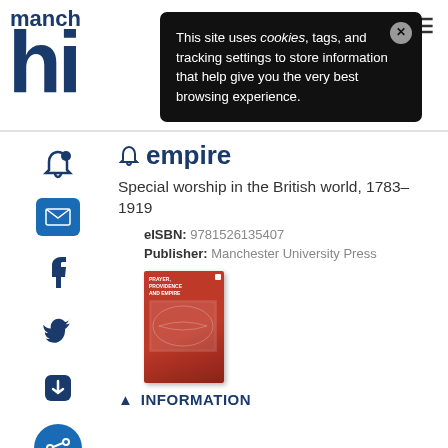manch
[Figure (screenshot): Cookie consent banner overlay with dark background reading: This site uses cookies, tags, and tracking settings to store information that help give you the very best browsing experience. With a close button (X).]
empire
Special worship in the British world, 1783–1919
eISBN: 9781526135407
Publisher: Manchester University Press
[Figure (photo): Book cover for Prayer, Providence and Empire, red cover with a world map graphic.]
INFORMATION